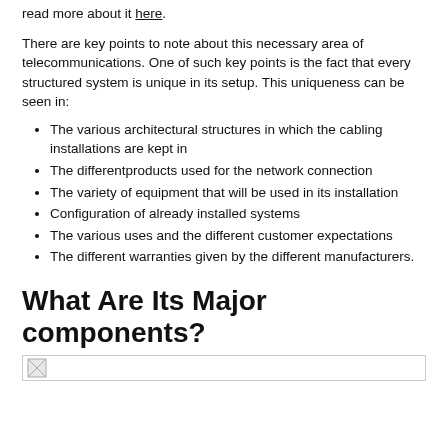read more about it here.
There are key points to note about this necessary area of telecommunications. One of such key points is the fact that every structured system is unique in its setup. This uniqueness can be seen in:
The various architectural structures in which the cabling installations are kept in
The differentproducts used for the network connection
The variety of equipment that will be used in its installation
Configuration of already installed systems
The various uses and the different customer expectations
The different warranties given by the different manufacturers.
What Are Its Major components?
[Figure (photo): Image placeholder at bottom of page]